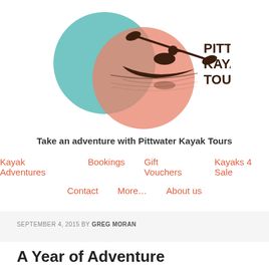[Figure (logo): Pittwater Kayak Tours logo: two overlapping circles (teal and salmon/peach) with a silhouette of a kayaker paddling, and text 'PITTWATER KAYAK TOURS' in dark brown bold letters to the right.]
Take an adventure with Pittwater Kayak Tours
Kayak Adventures   Bookings   Gift Vouchers   Kayaks 4 Sale
Contact   More...   About us
SEPTEMBER 4, 2015 BY GREG MORAN
A Year of Adventure